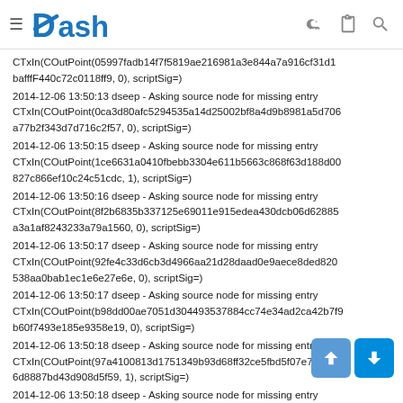Dash
CTxIn(COutPoint(05997fadb14f7f5819ae216981a3e844a7a916cf31d1bafffF440c72c0118ff9, 0), scriptSig=)
2014-12-06 13:50:13 dseep - Asking source node for missing entry CTxIn(COutPoint(0ca3d80afc5294535a14d25002bf8a4d9b8981a5d706a77b2f343d7d716c2f57, 0), scriptSig=)
2014-12-06 13:50:15 dseep - Asking source node for missing entry CTxIn(COutPoint(1ce6631a0410fbebb3304e611b5663c868f63d188d00827c866ef10c24c51cdc, 1), scriptSig=)
2014-12-06 13:50:16 dseep - Asking source node for missing entry CTxIn(COutPoint(8f2b6835b337125e69011e915edea430dcb06d62885a3a1af8243233a79a1560, 0), scriptSig=)
2014-12-06 13:50:17 dseep - Asking source node for missing entry CTxIn(COutPoint(92fe4c33d6cb3d4966aa21d28daad0e9aece8ded820538aa0bab1ec1e6e27e6e, 0), scriptSig=)
2014-12-06 13:50:17 dseep - Asking source node for missing entry CTxIn(COutPoint(b98dd00ae7051d304493537884cc74e34ad2ca42b7f9b60f7493e185e9358e19, 0), scriptSig=)
2014-12-06 13:50:18 dseep - Asking source node for missing entry CTxIn(COutPoint(97a4100813d1751349b93d68ff32ce5fbd5f07e72932a6d8887bd43d908d5f59, 1), scriptSig=)
2014-12-06 13:50:18 dseep - Asking source node for missing entry CTxIn(COutPoint(902b7d3b778aabe952145be838680b369678bca5c49...